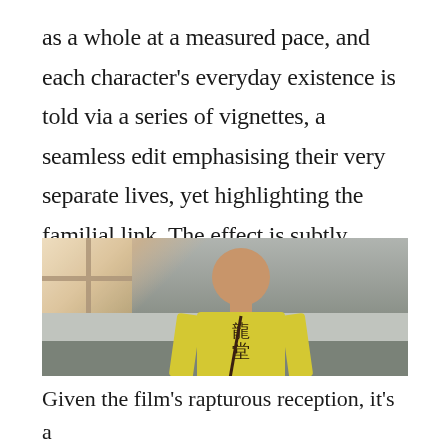as a whole at a measured pace, and each character's everyday existence is told via a series of vignettes, a seamless edit emphasising their very separate lives, yet highlighting the familial link. The effect is subtly immersive, with long-lasting effect.
[Figure (photo): A young Asian boy wearing a yellow t-shirt with Chinese characters and a lanyard/badge around his neck, standing with his head slightly bowed in front of a grey wall, with a window visible in the upper left background.]
Given the film's rapturous reception, it's a